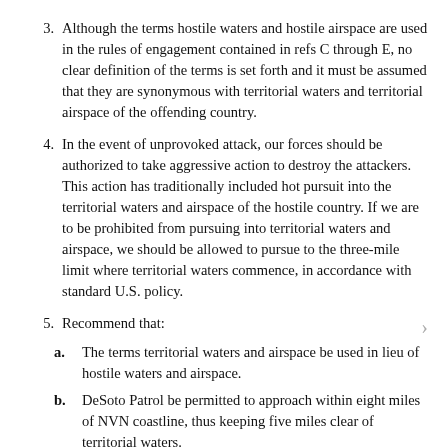3. Although the terms hostile waters and hostile airspace are used in the rules of engagement contained in refs C through E, no clear definition of the terms is set forth and it must be assumed that they are synonymous with territorial waters and territorial airspace of the offending country.
4. In the event of unprovoked attack, our forces should be authorized to take aggressive action to destroy the attackers. This action has traditionally included hot pursuit into the territorial waters and airspace of the hostile country. If we are to be prohibited from pursuing into territorial waters and airspace, we should be allowed to pursue to the three-mile limit where territorial waters commence, in accordance with standard U.S. policy.
5. Recommend that:
a. The terms territorial waters and airspace be used in lieu of hostile waters and airspace.
b. DeSoto Patrol be permitted to approach within eight miles of NVN coastline, thus keeping five miles clear of territorial waters.